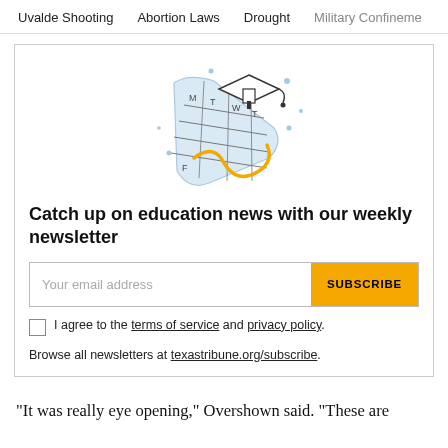Uvalde Shooting   Abortion Laws   Drought   Military Confinement
[Figure (illustration): Illustration of a rolled calendar with graduation cap and gold squiggle, representing education newsletter]
Catch up on education news with our weekly newsletter
Your email address [SUBSCRIBE button]
I agree to the terms of service and privacy policy.
Browse all newsletters at texastribune.org/subscribe.
“It was really eye opening,” Overshown said. “These are